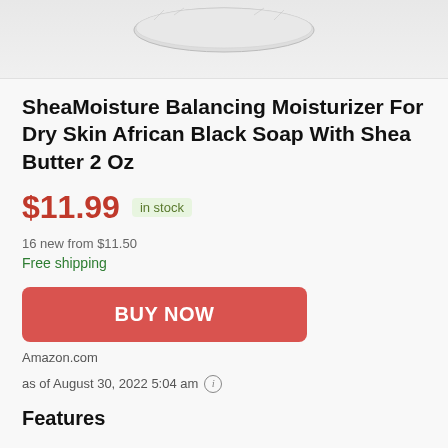[Figure (photo): Product image of SheaMoisture Balancing Moisturizer jar, partially cropped at top]
SheaMoisture Balancing Moisturizer For Dry Skin African Black Soap With Shea Butter 2 Oz
$11.99  in stock
16 new from $11.50
Free shipping
BUY NOW
Amazon.com
as of August 30, 2022 5:04 am
Features